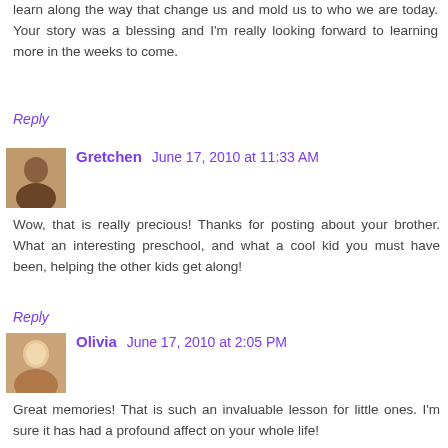learn along the way that change us and mold us to who we are today. Your story was a blessing and I'm really looking forward to learning more in the weeks to come.
Reply
Gretchen June 17, 2010 at 11:33 AM
Wow, that is really precious! Thanks for posting about your brother. What an interesting preschool, and what a cool kid you must have been, helping the other kids get along!
Reply
Olivia June 17, 2010 at 2:05 PM
Great memories! That is such an invaluable lesson for little ones. I'm sure it has had a profound affect on your whole life!
suchakingdom.blogspot.com
Reply